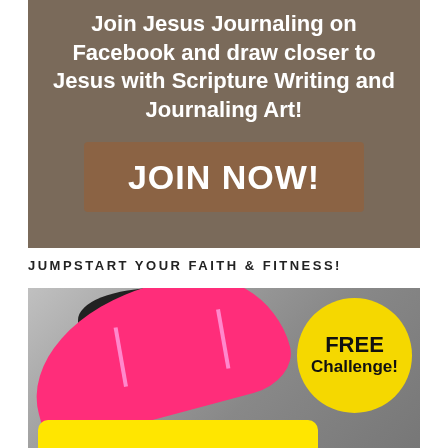[Figure (infographic): Dark tan/brown banner with white bold text reading 'Join Jesus Journaling on Facebook and draw closer to Jesus with Scripture Writing and Journaling Art!' and a brown button labeled 'JOIN NOW!']
JUMPSTART YOUR FAITH & FITNESS!
[Figure (photo): Close-up photo of a bright pink/magenta athletic sneaker with yellow sole. A yellow circle badge in the top right reads 'FREE Challenge!']